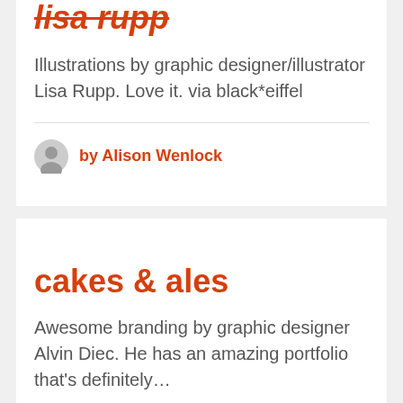lisa rupp
Illustrations by graphic designer/illustrator Lisa Rupp. Love it. via black*eiffel
by Alison Wenlock
cakes & ales
Awesome branding by graphic designer Alvin Diec. He has an amazing portfolio that's definitely…